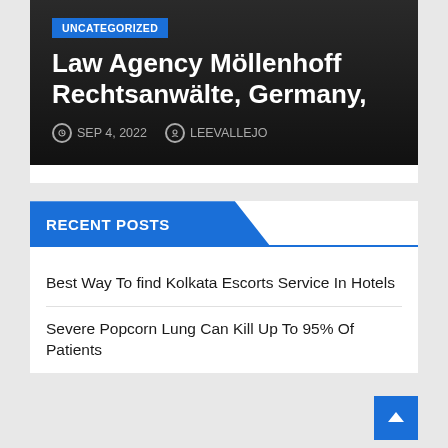UNCATEGORIZED
Law Agency Möllenhoff Rechtsanwälte, Germany,
SEP 4, 2022   LEEVALLEJO
RECENT POSTS
Best Way To find Kolkata Escorts Service In Hotels
Severe Popcorn Lung Can Kill Up To 95% Of Patients